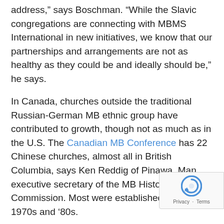address," says Boschman. "While the Slavic congregations are connecting with MBMS International in new initiatives, we know that our partnerships and arrangements are not as healthy as they could be and ideally should be," he says.
In Canada, churches outside the traditional Russian-German MB ethnic group have contributed to growth, though not as much as in the U.S. The Canadian MB Conference has 22 Chinese churches, almost all in British Columbia, says Ken Reddig of Pinawa, Man., executive secretary of the MB Historical Commission. Most were established in the 1970s and ’80s.
He says Chinese immigrants could identify with the Mennonite Brethren experience of living under communism. Many Canadian MBs are descendants of those who fled the Soviet Union in the 1920s and after World War II.
“They really identify with the Russian Mennonite story and say...